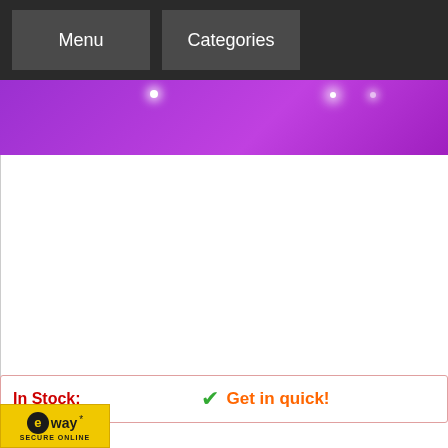Menu   Categories
[Figure (photo): Purple/violet lit room or display cabinet with bright LED lights, dark background with purple ambient lighting]
In Stock:   ✓ Get in quick!
[Figure (logo): eWAY Secure Online payment badge - yellow background with eWAY logo and text SECURE ONLINE]